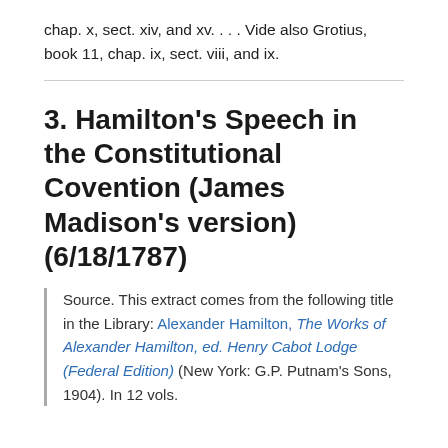chap. x, sect. xiv, and xv. . . . Vide also Grotius, book 11, chap. ix, sect. viii, and ix.
3. Hamilton's Speech in the Constitutional Covention (James Madison's version) (6/18/1787)
Source. This extract comes from the following title in the Library: Alexander Hamilton, The Works of Alexander Hamilton, ed. Henry Cabot Lodge (Federal Edition) (New York: G.P. Putnam's Sons, 1904). In 12 vols.